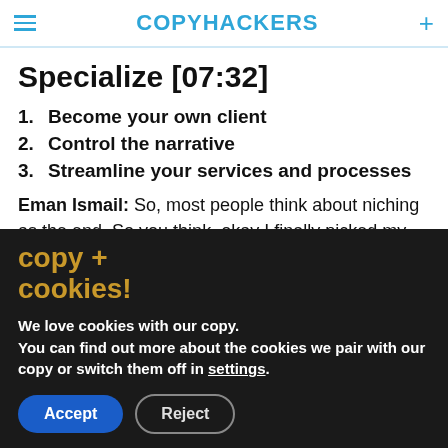COPYHACKERS
Specialize [07:32]
Become your own client
Control the narrative
Streamline your services and processes
Eman Ismail: So, most people think about niching as the end. So you think, okay I finally picked my
copy + cookies!
We love cookies with our copy. You can find out more about the cookies we pair with our copy or switch them off in settings.